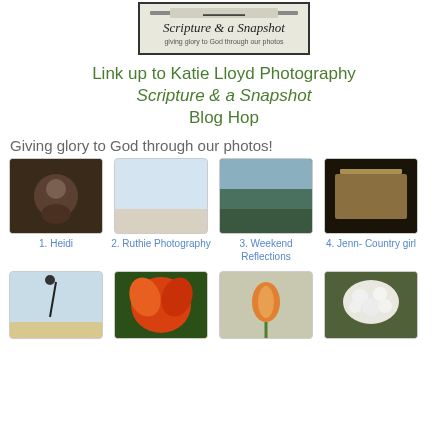[Figure (logo): Scripture & a Snapshot logo box with border, subtitle: giving glory to God through our photos]
Link up to Katie Lloyd Photography Scripture & a Snapshot Blog Hop
Giving glory to God through our photos!
[Figure (photo): Thumbnail 1: Heidi - close up macro photo]
1. Heidi
[Figure (photo): Thumbnail 2: Ruthie Photography - sky/clouds photo]
2. Ruthie Photography
[Figure (photo): Thumbnail 3: Weekend Reflections - landscape lake photo]
3. Weekend Reflections
[Figure (photo): Thumbnail 4: Jenn- Country girl - Bible/book photo]
4. Jenn- Country girl
[Figure (photo): Thumbnail 5: person jumping on beach]
[Figure (photo): Thumbnail 6: orange flower]
[Figure (photo): Thumbnail 7: orange flower stem]
[Figure (photo): Thumbnail 8: white flower cluster]